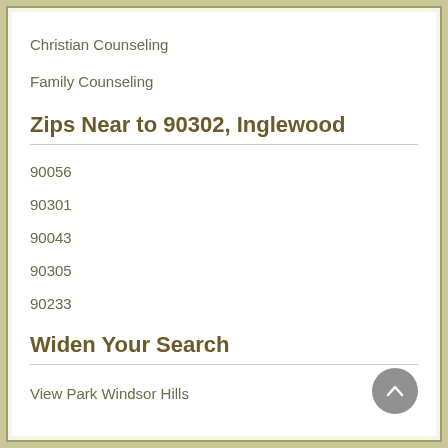Christian Counseling
Family Counseling
Zips Near to 90302, Inglewood
90056
90301
90043
90305
90233
Widen Your Search
View Park Windsor Hills